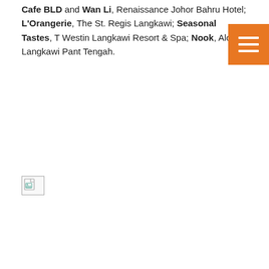Cafe BLD and Wan Li, Renaissance Johor Bahru Hotel; L'Orangerie, The St. Regis Langkawi; Seasonal Tastes, The Westin Langkawi Resort & Spa; Nook, Aloft Langkawi Pantai Tengah.
[Figure (photo): A broken/missing image placeholder icon at the top-left of an image region]